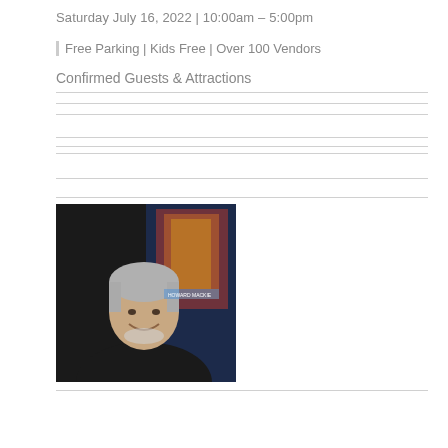Saturday July 16, 2022 | 10:00am – 5:00pm
Free Parking | Kids Free | Over 100 Vendors
Confirmed Guests & Attractions
[Figure (photo): Photo of a middle-aged man with gray hair and beard, wearing a black shirt, smiling, with a comic book poster visible in the background]